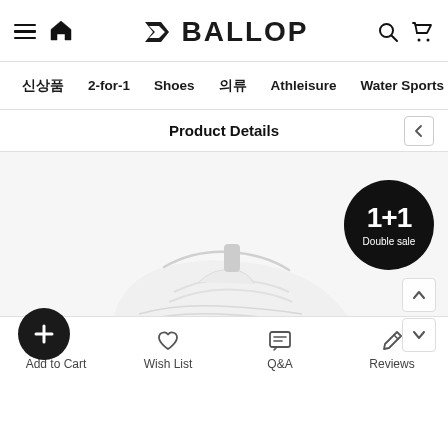[Figure (screenshot): BALLOP brand e-commerce mobile app header with hamburger menu, home icon, BALLOP logo, search and cart icons]
신상품   2-for-1   Shoes   의류   Athleisure   Water Sports
Product Details
[Figure (photo): White knit sneaker/athletic shoe on light background with 1+1 Double sale badge, plus button overlay, and up/down navigation arrows]
Add to Cart   Wish List   Q&A   Reviews